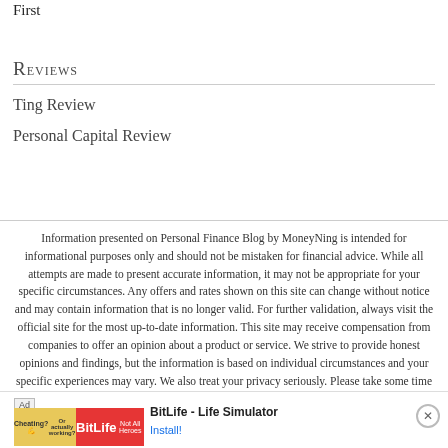First
Reviews
Ting Review
Personal Capital Review
Information presented on Personal Finance Blog by MoneyNing is intended for informational purposes only and should not be mistaken for financial advice. While all attempts are made to present accurate information, it may not be appropriate for your specific circumstances. Any offers and rates shown on this site can change without notice and may contain information that is no longer valid. For further validation, always visit the official site for the most up-to-date information. This site may receive compensation from companies to offer an opinion about a product or service. We strive to provide honest opinions and findings, but the information is based on individual circumstances and your specific experiences may vary. We also treat your privacy seriously. Please take some time to understand our full privacy policies and disclaimers
[Figure (other): Advertisement banner for BitLife - Life Simulator app with install button]